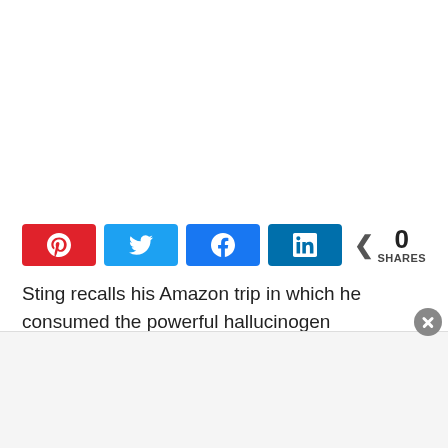[Figure (other): Social share buttons row: Pinterest (red), Twitter (blue), Facebook (blue), LinkedIn (dark blue), and a share count showing 0 SHARES]
Sting recalls his Amazon trip in which he consumed the powerful hallucinogen ayahuasca: In5D PATREON: https://www.patreon.com/in5d See our In5D articles the day before they're released, AD FREE, on Patreon for a minimal